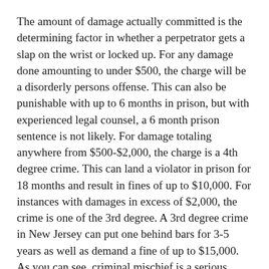The amount of damage actually committed is the determining factor in whether a perpetrator gets a slap on the wrist or locked up. For any damage done amounting to under $500, the charge will be a disorderly persons offense. This can also be punishable with up to 6 months in prison, but with experienced legal counsel, a 6 month prison sentence is not likely. For damage totaling anywhere from $500-$2,000, the charge is a 4th degree crime. This can land a violator in prison for 18 months and result in fines of up to $10,000. For instances with damages in excess of $2,000, the crime is one of the 3rd degree. A 3rd degree crime in New Jersey can put one behind bars for 3-5 years as well as demand a fine of up to $15,000. As you can see, criminal mischief is a serious charge. However, with experienced legal counsel, you may be able to downgrade these charges.
When faced with a criminal mischief charge, call Villani